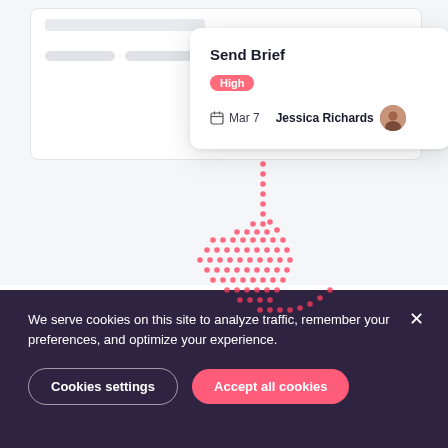[Figure (screenshot): UI screenshot showing a task card popup with title 'Send Brief', priority badge 'High', date 'Mar 7', and assignee 'Jessica Richards'. A decorative dotted arc pattern connects the popup to a blurred app interface in the background.]
We serve cookies on this site to analyze traffic, remember your preferences, and optimize your experience.
Cookies settings
Accept all cookies